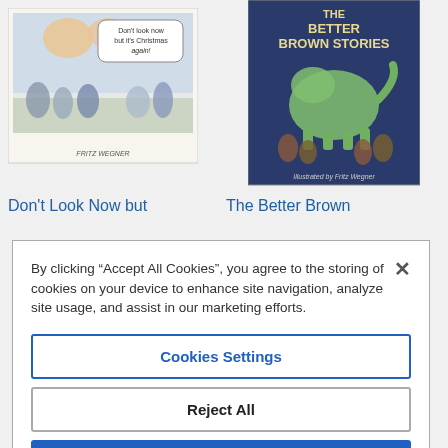[Figure (illustration): Book cover illustration: festive cartoon scene with angels and carolers, speech bubble saying 'Don't look now but it's Christmas again!', with 'FRITZ WEGNER' at bottom]
[Figure (illustration): Book cover: 'THE BETTER BROWN STORIES' with illustration of a large green dog surrounded by small gnome-like figures, dark blue background. 'Illustrated by Fritz Wegner' at bottom]
Don't Look Now but
The Better Brown
By clicking “Accept All Cookies”, you agree to the storing of cookies on your device to enhance site navigation, analyze site usage, and assist in our marketing efforts.
Cookies Settings
Reject All
Accept All Cookies